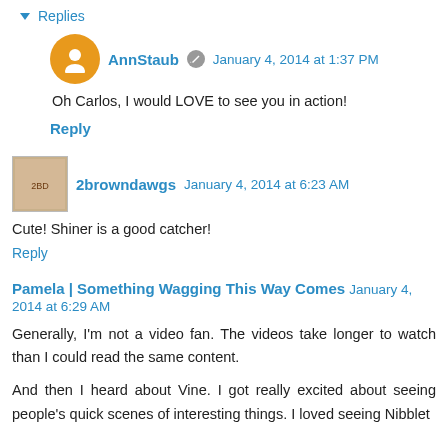▾ Replies
AnnStaub  January 4, 2014 at 1:37 PM
Oh Carlos, I would LOVE to see you in action!
Reply
2browndawgs  January 4, 2014 at 6:23 AM
Cute! Shiner is a good catcher!
Reply
Pamela | Something Wagging This Way Comes  January 4, 2014 at 6:29 AM
Generally, I'm not a video fan. The videos take longer to watch than I could read the same content.
And then I heard about Vine. I got really excited about seeing people's quick scenes of interesting things. I loved seeing Nibblet